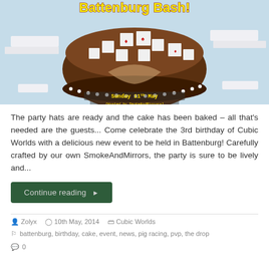[Figure (screenshot): Minecraft-style Battenburg Bash event image showing an aerial view of a large cake-shaped structure with white blocks, in a light blue sky. Text reads 'Battenburg Bash!' at top and 'Sunday 11th May' at bottom with a hosted-by line.]
The party hats are ready and the cake has been baked – all that's needed are the guests... Come celebrate the 3rd birthday of Cubic Worlds with a delicious new event to be held in Battenburg! Carefully crafted by our own SmokeAndMirrors, the party is sure to be lively and...
Continue reading ▶
Zolyx   10th May, 2014   Cubic Worlds
battenburg, birthday, cake, event, news, pig racing, pvp, the drop
0